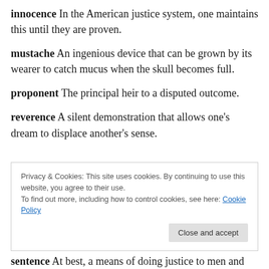innocence  In the American justice system, one maintains this until they are proven.
mustache  An ingenious device that can be grown by its wearer to catch mucus when the skull becomes full.
proponent  The principal heir to a disputed outcome.
reverence  A silent demonstration that allows one’s dream to displace another’s sense.
Privacy & Cookies: This site uses cookies. By continuing to use this website, you agree to their use. To find out more, including how to control cookies, see here: Cookie Policy
sentence  At best, a means of doing justice to men and